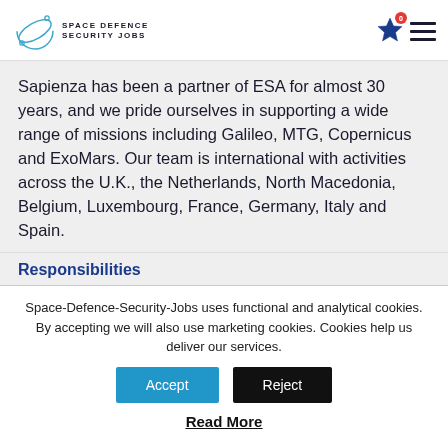SPACE DEFENCE SECURITY JOBS
Sapienza has been a partner of ESA for almost 30 years, and we pride ourselves in supporting a wide range of missions including Galileo, MTG, Copernicus and ExoMars. Our team is international with activities across the U.K., the Netherlands, North Macedonia, Belgium, Luxembourg, France, Germany, Italy and Spain.
Responsibilities
Space-Defence-Security-Jobs uses functional and analytical cookies. By accepting we will also use marketing cookies. Cookies help us deliver our services.
Accept   Reject
Read More